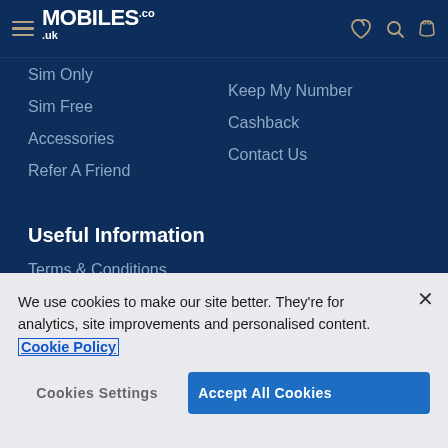MOBILES.CO.UK
Sim Only
Sim Free
Accessories
Refer A Friend
Keep My Number
Cashback
Contact Us
Useful Information
Terms & Conditions
Privacy Policy
Sitemap
Statement on Modern Slavery
With over 25 years' experience, Mobiles.co.uk is the UK's first
We use cookies to make our site better. They're for analytics, site improvements and personalised content. Cookie Policy
Cookies Settings
Accept All Cookies